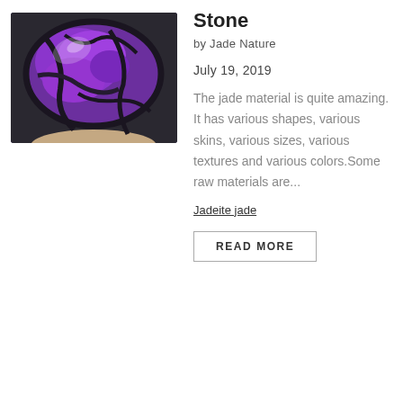[Figure (photo): A close-up photo of a purple and dark gray jade stone being held by fingers. The stone has vivid purple patches with dark gray/black veining.]
Stone
by Jade Nature
July 19, 2019
The jade material is quite amazing. It has various shapes, various skins, various sizes, various textures and various colors.Some raw materials are...
Jadeite jade
READ MORE